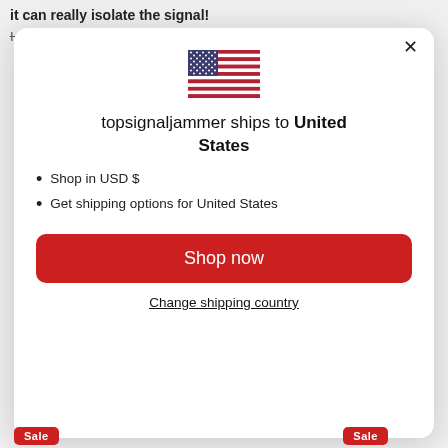it can really isolate the signal!
I bought 6 of them to put them in the meeting
[Figure (illustration): US flag emoji/illustration shown in modal dialog]
topsignaljammer ships to United States
Shop in USD $
Get shipping options for United States
Shop now
Change shipping country